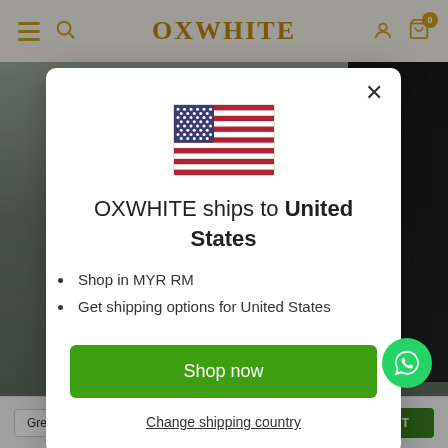OXWHITE
[Figure (screenshot): OXWHITE e-commerce website header with hamburger menu, search icon, logo, profile icon, and cart icon with badge 0]
[Figure (illustration): US flag emoji/icon centered in modal dialog]
OXWHITE ships to United States
Shop in MYR RM
Get shipping options for United States
Shop now
Change shipping country
Grey / S(2Y) - RM31.92
ADD TO CART